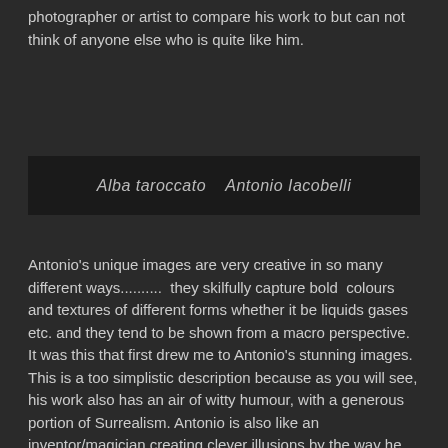photographer or artist to compare his work to but can not think of anyone else who is quite like him.
Alba taroccato   Antonio Iacobelli
Antonio's unique images are very creative in so many different ways..........  they skilfully capture bold  colours and textures of different forms whether it be liquids gases etc. and they tend to be shown from a macro perspective. It was this that first drew me to Antonio's stunning images. This is a too simplistic description because as you will see, his work also has an air of witty humour, with a generous portion of Surrealism. Antonio is also like an inventor/magician creating clever illusions by the way he constructs the composition and forces you to take a closer look at what you are actually seeing.